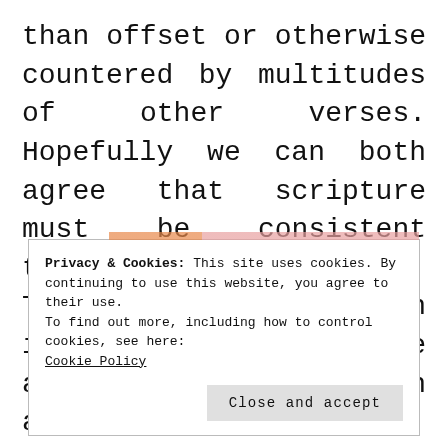than offset or otherwise countered by multitudes of other verses. Hopefully we can both agree that scripture must be consistent throughout the Bible. There can't be election in one part of the Bible and free will in another. Agree?
Privacy & Cookies: This site uses cookies. By continuing to use this website, you agree to their use.
To find out more, including how to control cookies, see here: Cookie Policy